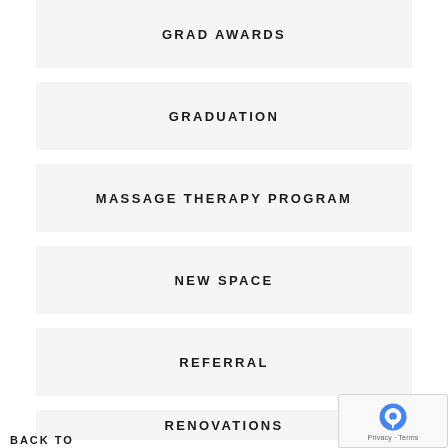GRAD AWARDS
GRADUATION
MASSAGE THERAPY PROGRAM
NEW SPACE
REFERRAL
RENOVATIONS
SCHOLARSHIP
BACK TO